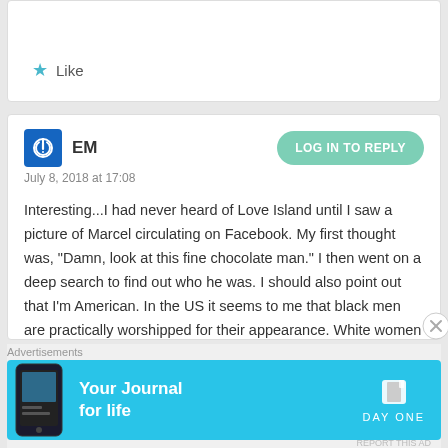Like
EM
July 8, 2018 at 17:08
Interesting...I had never heard of Love Island until I saw a picture of Marcel circulating on Facebook. My first thought was, “Damn, look at this fine chocolate man.” I then went on a deep search to find out who he was. I should also point out that I’m American. In the US it seems to me that black men are practically worshipped for their appearance. White women here loooove Idris Elba, Denzel Washington, Borderick Hunter, Will Smith
Advertisements
[Figure (screenshot): Day One app advertisement banner with text 'Your Journal for life' on cyan background with phone image]